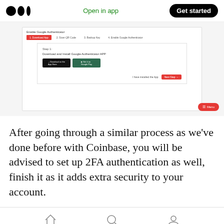Medium logo | Open in app | Get started
[Figure (screenshot): Screenshot of Google Authenticator setup page showing step 1 'Download App' active (red), steps 2-4 inactive, with instructions to download and install Google Authenticator app, App Store and Google Play buttons, a checkbox 'I have installed the App' and a red 'Next Step' button. A red 'Menu' button is in the bottom right corner.]
After going through a similar process as we've done before with Coinbase, you will be advised to set up 2FA authentication as well, finish it as it adds extra security to your account.
Home | Search | Profile